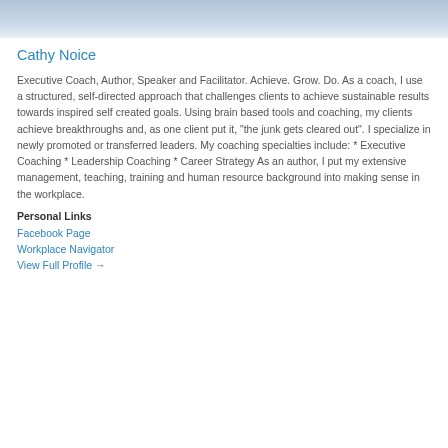[Figure (photo): Partial photo of a person, showing chin/neck area against a blue background, cropped at the top of the page]
Cathy Noice
Executive Coach, Author, Speaker and Facilitator. Achieve. Grow. Do. As a coach, I use a structured, self-directed approach that challenges clients to achieve sustainable results towards inspired self created goals. Using brain based tools and coaching, my clients achieve breakthroughs and, as one client put it, "the junk gets cleared out". I specialize in newly promoted or transferred leaders. My coaching specialties include: * Executive Coaching * Leadership Coaching * Career Strategy As an author, I put my extensive management, teaching, training and human resource background into making sense in the workplace.
Personal Links
Facebook Page
Workplace Navigator
View Full Profile →